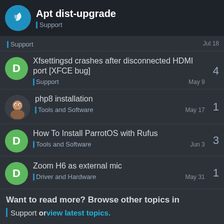Apt dist-upgrade
Support
Support | Jul 18
Xfsettingsd crashes after disconnected HDMI port [XFCE bug] | Support | May 9 | 4 replies
php8 installation | Tools and Software | May 17 | 1 reply
How To Install ParrotOS with Rufus | Tools and Software | Jun 3 | 3 replies
Zoom H6 as external mic | Driver and Hardware | May 31 | 1 reply
Want to read more? Browse other topics in Support or view latest topics.